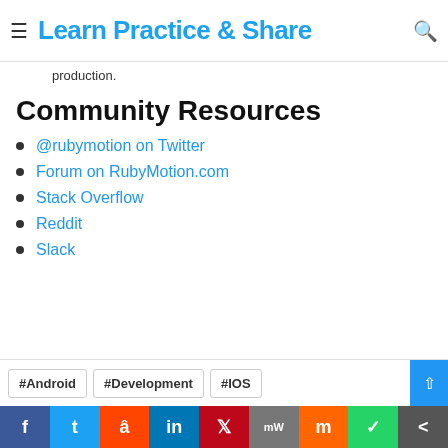Learn Practice & Share
production.
Community Resources
@rubymotion on Twitter
Forum on RubyMotion.com
Stack Overflow
Reddit
Slack
#Android #Development #IOS